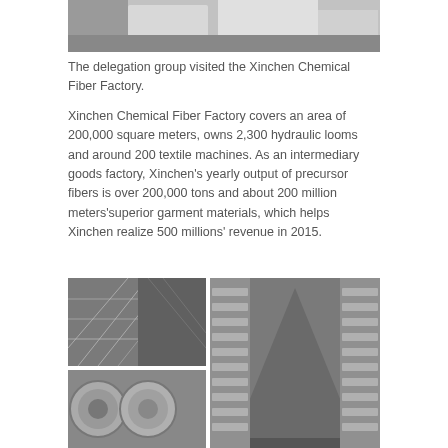[Figure (photo): Top photo showing delegation group visiting Xinchen Chemical Fiber Factory — people in white coats/uniforms visible]
The delegation group visited the Xinchen Chemical Fiber Factory.
Xinchen Chemical Fiber Factory covers an area of 200,000 square meters, owns 2,300 hydraulic looms and around 200 textile machines. As an intermediary goods factory, Xinchen's yearly output of precursor fibers is over 200,000 tons and about 200 million meters'superior garment materials, which helps Xinchen realize 500 millions' revenue in 2015.
[Figure (photo): Bottom collage of factory floor photos showing fiber strands, spools of thread/yarn arranged in long rows in the textile factory]